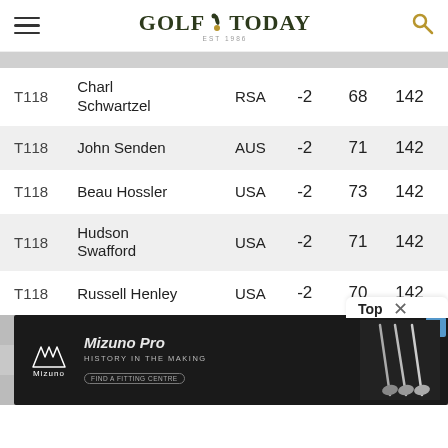GOLF TODAY
| Pos | Player | Country | Score | Round | Total |
| --- | --- | --- | --- | --- | --- |
| T118 | Charl Schwartzel | RSA | -2 | 68 | 142 |
| T118 | John Senden | AUS | -2 | 71 | 142 |
| T118 | Beau Hossler | USA | -2 | 73 | 142 |
| T118 | Hudson Swafford | USA | -2 | 71 | 142 |
| T118 | Russell Henley | USA | -2 | 70 | 142 |
| T1 |  |  |  |  | 43 |
| T1 |  |  |  |  | 43 |
| T127 | Danny Willett | ENG |  | 68 | 143 |
[Figure (photo): Mizuno Pro golf irons advertisement banner — 'History in the Making', 'Find a Fitting Centre']